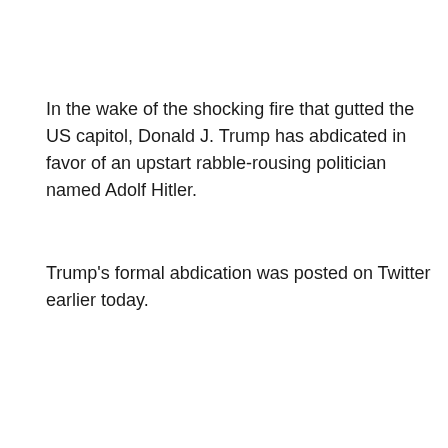In the wake of the shocking fire that gutted the US capitol, Donald J. Trump has abdicated in favor of an upstart rabble-rousing politician named Adolf Hitler.
Trump's formal abdication was posted on Twitter earlier today.